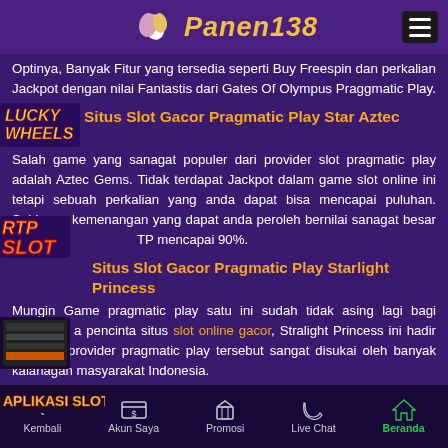Panen138
Optinya, Banyak Fitur yang tersedia seperti Buy Freespin dan perkalian Jackpot dengan nilai Fantastis dari Gates Of Olympus Praggmatic Play.
Situs Slot Gacor Pragmatic Play Star Aztec Gems
Salah game yang sanagat populer dari provider slot pragmatic play adalah Aztec Gems. Tidak terdapat Jackpot dalam game slot online ini tetapi sebuah perkalian yang anda dapat bisa mencapai puluhan. Sehingga kemenangan yang dapat anda peroleh bernilai sanagat besar dengan RTP mencapai 90%.
Situs Slot Gacor Pragmatic Play Starlight Princess
Mungin Game pragmatic play satu ini sudah tidak asing lagi bagi para pencinta situs slot online gacor, Stralight Princess ini hadir dari dari provider pragmatic play tersebut sangat disukai oleh banyak kalanagan masyarakat Indonesia.
Situs Slot Gacor Pragmatic Play Wild West Gold
Kembali | Akun Saya | Promosi | Live Chat | Beranda